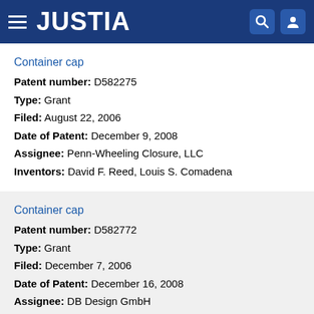JUSTIA
Container cap
Patent number: D582275
Type: Grant
Filed: August 22, 2006
Date of Patent: December 9, 2008
Assignee: Penn-Wheeling Closure, LLC
Inventors: David F. Reed, Louis S. Comadena
Container cap
Patent number: D582772
Type: Grant
Filed: December 7, 2006
Date of Patent: December 16, 2008
Assignee: DB Design GmbH
Inventor: Dieter Bakic